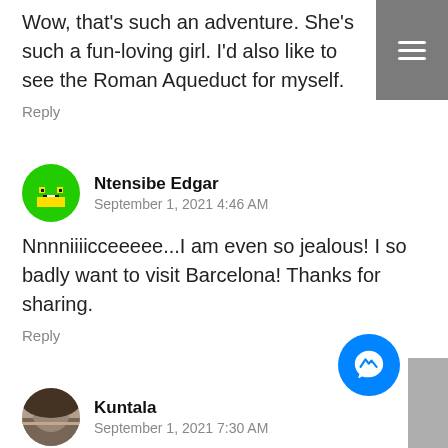Wow, that's such an adventure. She's such a fun-loving girl. I'd also like to see the Roman Aqueduct for myself.
Reply
Ntensibe Edgar
September 1, 2021 4:46 AM
Nnnniiiicceeeee...I am even so jealous! I so badly want to visit Barcelona! Thanks for sharing.
Reply
Kuntala
September 1, 2021 7:30 AM
Your pictures are all gorgeous! I'm jealous'd always wanted to visit parts of Europe.